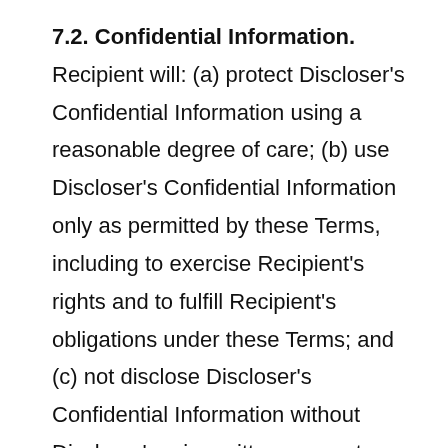7.2. Confidential Information. Recipient will: (a) protect Discloser's Confidential Information using a reasonable degree of care; (b) use Discloser's Confidential Information only as permitted by these Terms, including to exercise Recipient's rights and to fulfill Recipient's obligations under these Terms; and (c) not disclose Discloser's Confidential Information without Discloser's prior written consent, except to affiliates, contractors, agents, and professional advisors (collectively, "Representatives") who need to know it and have agreed in writing (or, in the case of professional advisors, are otherwise bound)